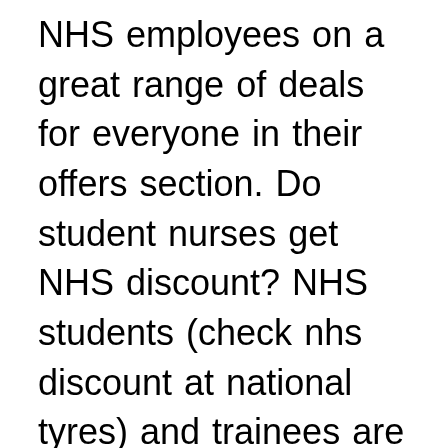NHS employees on a great range of deals for everyone in their offers section. Do student nurses get NHS discount? NHS students (check nhs discount at national tyres) and trainees are the new-blood of the NHS, so of course they are entitled to NHS discounts. It doesn't matter which field you're studying; discounts are there to help you save some money while you are